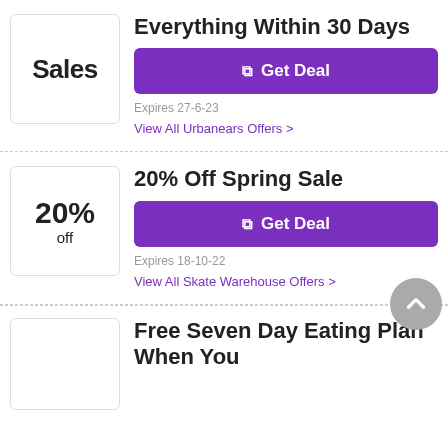[Figure (other): Sales badge icon with text 'Sales']
Everything Within 30 Days
Get Deal
Expires 27-6-23
View All Urbanears Offers >
[Figure (other): 20% off discount badge]
20% Off Spring Sale
Get Deal
Expires 18-10-22
View All Skate Warehouse Offers >
Free Seven Day Eating Plan When You Register At Slinc…